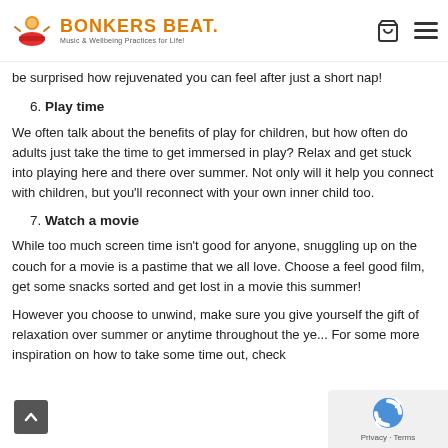Bonkers Beat — Music & Wellbeing Practices for Life!
be surprised how rejuvenated you can feel after just a short nap!
6. Play time
We often talk about the benefits of play for children, but how often do adults just take the time to get immersed in play? Relax and get stuck into playing here and there over summer. Not only will it help you connect with children, but you'll reconnect with your own inner child too.
7. Watch a movie
While too much screen time isn't good for anyone, snuggling up on the couch for a movie is a pastime that we all love. Choose a feel good film, get some snacks sorted and get lost in a movie this summer!
However you choose to unwind, make sure you give yourself the gift of relaxation over summer or anytime throughout the ye... For some more inspiration on how to take some time out, check